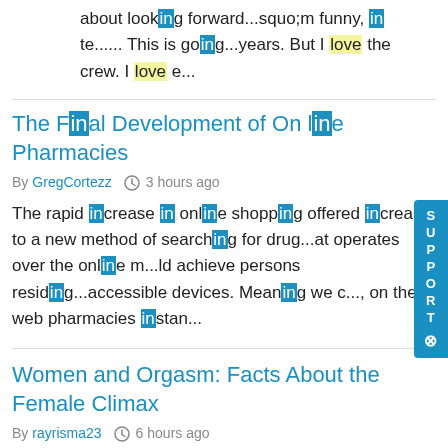about looking forward...squo;m funny, in te...... This is going...years. But I love the crew. I love e...
The Final Development of On line Pharmacies
By GregCortezz  3 hours ago
The rapid increase in online shopping offered increase to a new method of searching for drug...at operates over the online m...ld achieve persons residing...accessible devices. Meaning we c..., on the web pharmacies instan...
Women and Orgasm: Facts About the Female Climax
By rayrisma23  6 hours ago